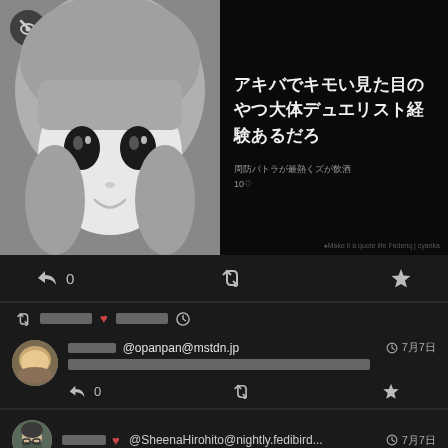[Figure (illustration): Mastodon/Fediverse social media screenshot showing a post with an anime-style manga illustration on the left and Japanese text on the right against a black background, with action buttons, a boost/repost row, a comment from @opanpan@mstdn.jp, and a partial bottom comment from @SheenaHirohito@nightly.fedibird...]
アキバでキモい見た目のやつ大体デュエリスト経験あるだろ
■■■■■■■ @opanpan@mstdn.jp  🌐 7月7日
■■■■■■■■■■■■■■■■■■■■■■■■■■■■■■■■■■■■
■■■■■■■♥ @SheenaHirohito@nightly.fedibird... 🌐 7月7日